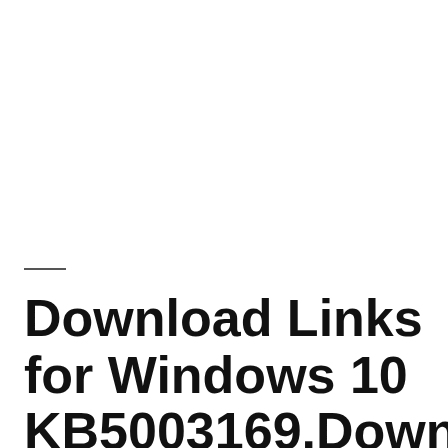Download Links for Windows 10 KB5003169.Download and Install Windows 10